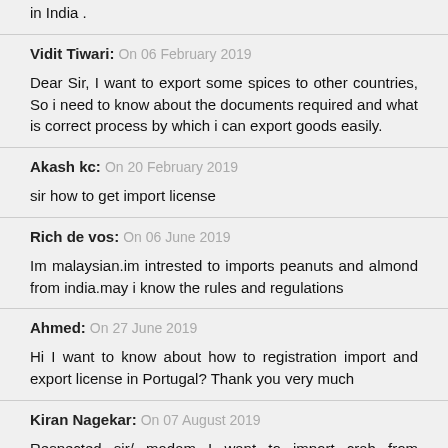in India .
Vidit Tiwari: On 06 February 2019
Dear Sir, I want to export some spices to other countries, So i need to know about the documents required and what is correct process by which i can export goods easily.
Akash kc: On 20 February 2019
sir how to get import license
Rich de vos: On 06 June 2019
Im malaysian.im intrested to imports peanuts and almond from india.may i know the rules and regulations
Ahmed: On 27 June 2019
Hi I want to know about how to registration import and export license in Portugal? Thank you very much
Kiran Nagekar: On 07 August 2019
Respected sir/ madam I want to import crab from Tanzania to India, for import license & other details please guide me